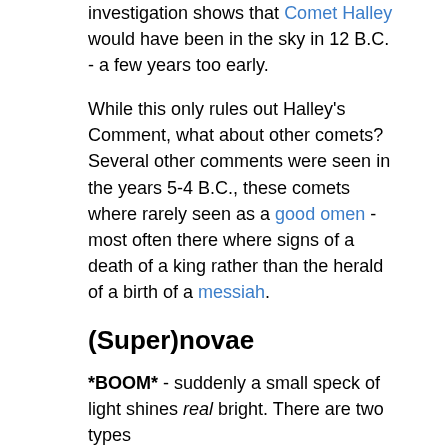investigation shows that Comet Halley would have been in the sky in 12 B.C. - a few years too early.
While this only rules out Halley's Comment, what about other comets? Several other comments were seen in the years 5-4 B.C., these comets where rarely seen as a good omen - most often there where signs of a death of a king rather than the herald of a birth of a messiah.
(Super)novae
*BOOM* - suddenly a small speck of light shines real bright. There are two types
A nova which shines with 50,000 times